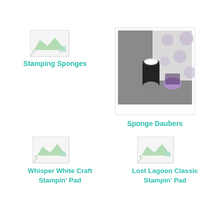[Figure (photo): Broken image placeholder for Stamping Sponges product]
Stamping Sponges
[Figure (photo): Photo of sponge daubers on gray background with polka dot paper]
Sponge Daubers
[Figure (photo): Broken image placeholder for Whisper White Craft Stampin Pad product]
Whisper White Craft Stampin' Pad
[Figure (photo): Broken image placeholder for Lost Lagoon Classic Stampin Pad product]
Lost Lagoon Classic Stampin' Pad